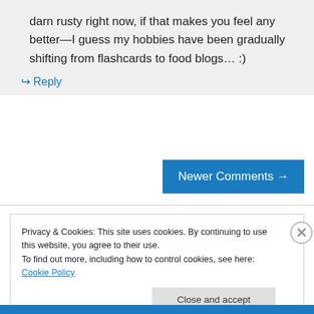darn rusty right now, if that makes you feel any better—I guess my hobbies have been gradually shifting from flashcards to food blogs… :)
↳ Reply
Newer Comments →
Privacy & Cookies: This site uses cookies. By continuing to use this website, you agree to their use.
To find out more, including how to control cookies, see here: Cookie Policy
Close and accept